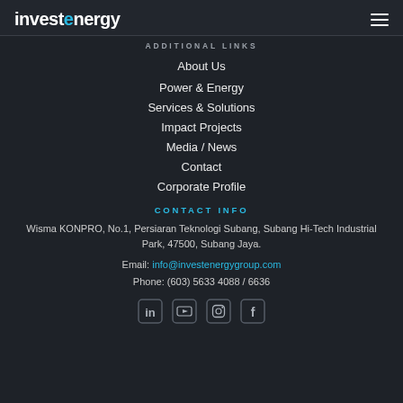[Figure (logo): investenergy logo with 'e' highlighted in blue]
ADDITIONAL LINKS
About Us
Power & Energy
Services & Solutions
Impact Projects
Media / News
Contact
Corporate Profile
CONTACT INFO
Wisma KONPRO, No.1, Persiaran Teknologi Subang, Subang Hi-Tech Industrial Park, 47500, Subang Jaya.
Email: info@investenergygroup.com
Phone: (603) 5633 4088 / 6636
[Figure (illustration): Social media icons: LinkedIn, YouTube, Instagram, Facebook]